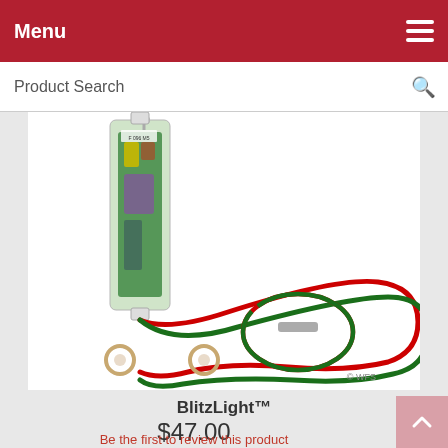Menu
Product Search
[Figure (photo): Product photo of BlitzLight device — a small transparent rectangular electronic module with green circuit board and wires, connected to coiled red and green wires with ring terminals at the ends. Watermark: © WFS]
BlitzLight™
$47.00
Be the first to review this product